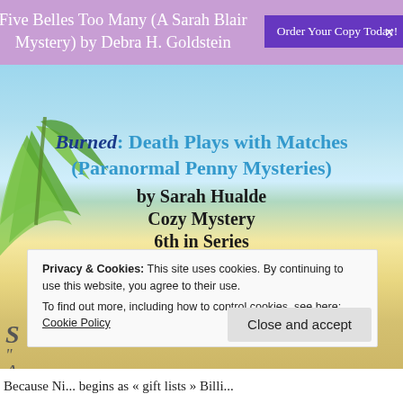Five Belles Too Many (A Sarah Blair Mystery) by Debra H. Goldstein
[Figure (screenshot): Order Your Copy Today! button (purple)]
Burned: Death Plays with Matches (Paranormal Penny Mysteries)
by Sarah Hualde
Cozy Mystery
6th in Series
[Figure (logo): + Add to goodreads button]
Privacy & Cookies: This site uses cookies. By continuing to use this website, you agree to their use.
To find out more, including how to control cookies, see here:
Cookie Policy
Close and accept
Because Ni... begins as « gift lists » Billi...